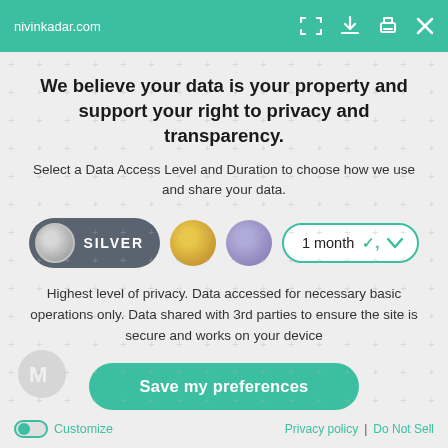nivinkadar.com
We believe your data is your property and support your right to privacy and transparency.
Select a Data Access Level and Duration to choose how we use and share your data.
[Figure (infographic): Data access level selector showing three options: Silver (selected, dark grey pill button with grey circle), Gold (yellow circle), Purple (purple circle), and a duration dropdown showing '1 month' with a teal border and chevron.]
Highest level of privacy. Data accessed for necessary basic operations only. Data shared with 3rd parties to ensure the site is secure and works on your device
Save my preferences
Customize | Privacy policy | Do Not Sell